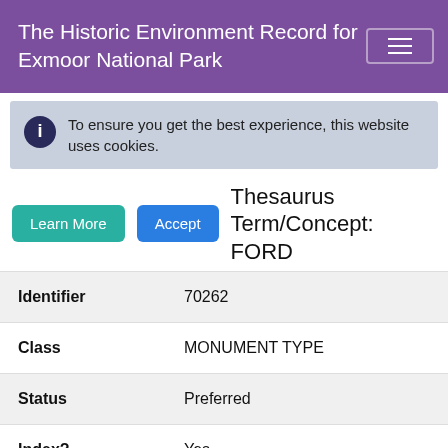The Historic Environment Record for Exmoor National Park
To ensure you get the best experience, this website uses cookies.
Learn More
Accept
Thesaurus Term/Concept: FORD
| Field | Value |
| --- | --- |
| Identifier | 70262 |
| Class | MONUMENT TYPE |
| Status | Preferred |
| Index? | Yes |
|  | A shallow place in a river or other |